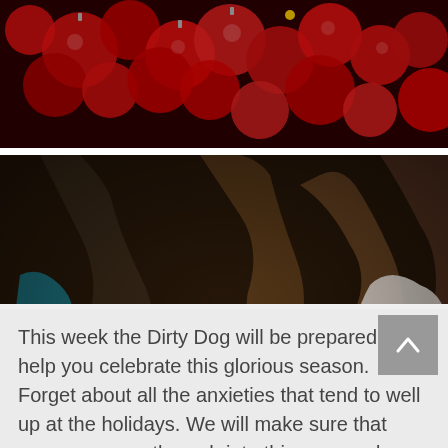[Figure (photo): Red Christmas ornament balls, dark festive background with bokeh lighting]
[Figure (photo): People at a restaurant dining table clapping hands, cocktails and wine glasses visible, candlelit centerpiece, elegant setting]
This week the Dirty Dog will be prepared to help you celebrate this glorious season. Forget about all the anxieties that tend to well up at the holidays. We will make sure that once you pass through into this cozy and comfortable place, all feelings of